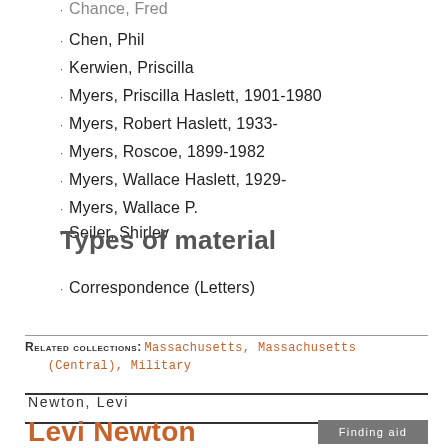Chance, Fred
Chen, Phil
Kerwien, Priscilla
Myers, Priscilla Haslett, 1901-1980
Myers, Robert Haslett, 1933-
Myers, Roscoe, 1899-1982
Myers, Wallace Haslett, 1929-
Myers, Wallace P.
Seiler, Shirley
Types of material
Correspondence (Letters)
Related collections: Massachusetts, Massachusetts (Central), Military
Newton, Levi
Levi Newton
Finding aid